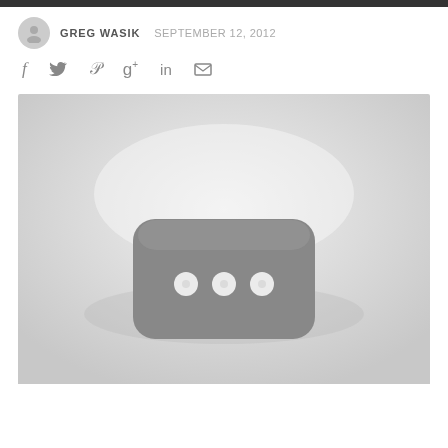GREG WASIK  SEPTEMBER 12, 2012
[Figure (other): Social sharing icons row: facebook (f), twitter (bird), pinterest (p), google+ (g+), linkedin (in), email (envelope)]
[Figure (photo): Grayscale image of a small portable WiFi/MiFi router device with rounded rectangular shape and three white LED indicator dots on its face, photographed against a light gray gradient background]